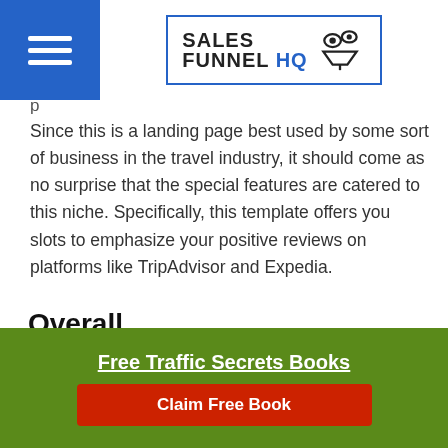Sales Funnel HQ
Since this is a landing page best used by some sort of business in the travel industry, it should come as no surprise that the special features are catered to this niche. Specifically, this template offers you slots to emphasize your positive reviews on platforms like TripAdvisor and Expedia.
Overall
As a whole, anybody who wants to create a website which sells some sort of product or service in the travel niche should make this one of their top Unbounce templates. Since there are many different variations and potential ways
Free Traffic Secrets Books
Claim Free Book